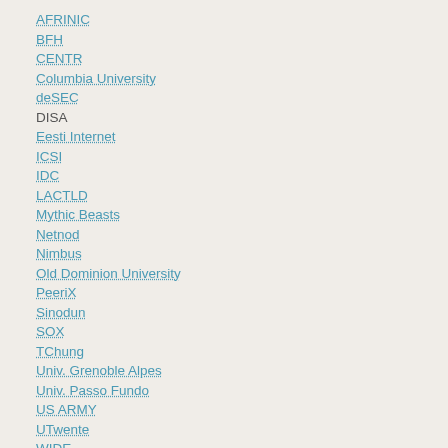AFRINIC
BFH
CENTR
Columbia University
deSEC
DISA
Eesti Internet
ICSI
IDC
LACTLD
Mythic Beasts
Netnod
Nimbus
Old Dominion University
PeeriX
Sinodun
SOX
TChung
Univ. Grenoble Alpes
Univ. Passo Fundo
US ARMY
UTwente
WIDE